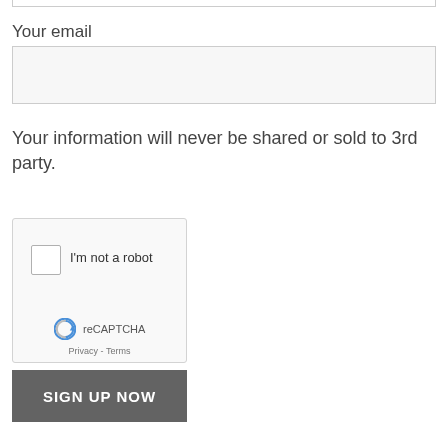Your email
[Figure (screenshot): Empty email input field with light gray background and border]
Your information will never be shared or sold to 3rd party.
[Figure (screenshot): reCAPTCHA widget with checkbox labeled 'I'm not a robot', reCAPTCHA logo, Privacy and Terms links]
SIGN UP NOW